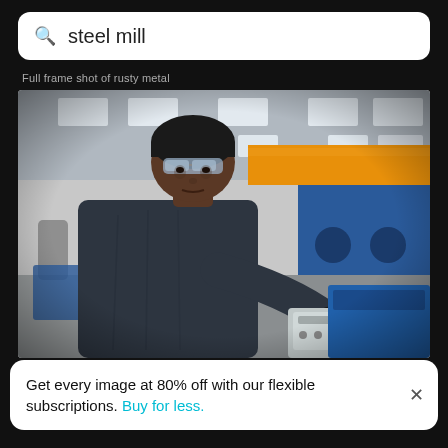steel mill
Full frame shot of rusty metal
[Figure (photo): Portrait of a man working in a factory/steel mill. He is wearing a black t-shirt, black head covering, and safety glasses, operating industrial machinery with blue equipment and an orange crane beam visible in the background of a large warehouse facility.]
Portrait of man working in factory
Get every image at 80% off with our flexible subscriptions. Buy for less.